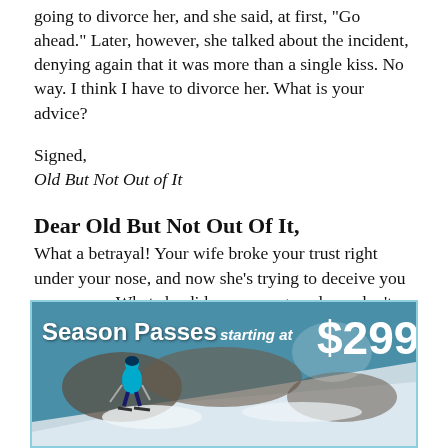going to divorce her, and she said, at first, "Go ahead." Later, however, she talked about the incident, denying again that it was more than a single kiss. No way. I think I have to divorce her. What is your advice?
Signed,
Old But Not Out of It
Dear Old But Not Out Of It,
What a betrayal! Your wife broke your trust right under your nose, and now she’s trying to deceive you even more. What she did was wrong, and you don’t need me to say it.
While my heart wants you to make a clean break and
[Figure (photo): Advertisement banner for Season Passes starting at $299, featuring a skier on a snowy slope with a teal/blue color scheme.]